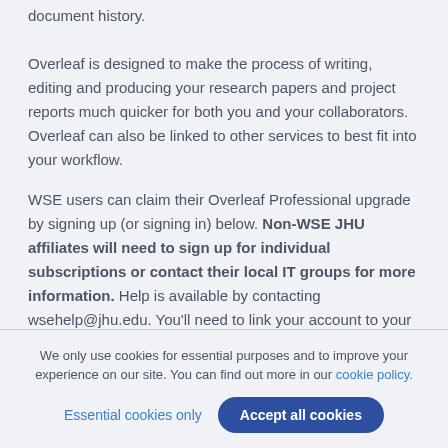document history. Overleaf is designed to make the process of writing, editing and producing your research papers and project reports much quicker for both you and your collaborators. Overleaf can also be linked to other services to best fit into your workflow.
WSE users can claim their Overleaf Professional upgrade by signing up (or signing in) below. Non-WSE JHU affiliates will need to sign up for individual subscriptions or contact their local IT groups for more information. Help is available by contacting wsehelp@jhu.edu. You'll need to link your account to your JHED@jh.edu single sign on.
We only use cookies for essential purposes and to improve your experience on our site. You can find out more in our cookie policy.